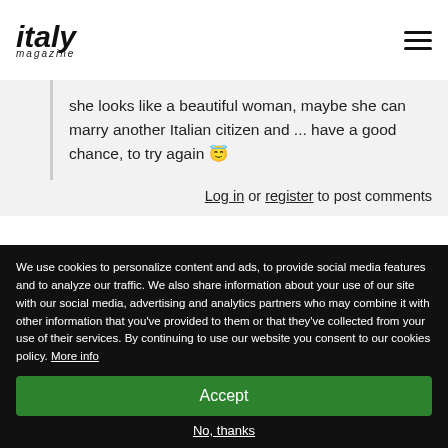italy magazine
she looks like a beautiful woman, maybe she can marry another Italian citizen and ... have a good chance, to try again 😇
Log in or register to post comments
Thank you Ugo and
Submitted by Melissa Pocock on Tue, 06/11/2019 - 00:11
We use cookies to personalize content and ads, to provide social media features and to analyze our traffic. We also share information about your use of our site with our social media, advertising and analytics partners who may combine it with other information that you've provided to them or that they've collected from your use of their services. By continuing to use our website you consent to our cookies policy. More info
Accept
No, thanks